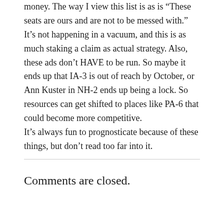money. The way I view this list is as is “These seats are ours and are not to be messed with.” It’s not happening in a vacuum, and this is as much staking a claim as actual strategy. Also, these ads don’t HAVE to be run. So maybe it ends up that IA-3 is out of reach by October, or Ann Kuster in NH-2 ends up being a lock. So resources can get shifted to places like PA-6 that could become more competitive.
It’s always fun to prognosticate because of these things, but don’t read too far into it.
Comments are closed.